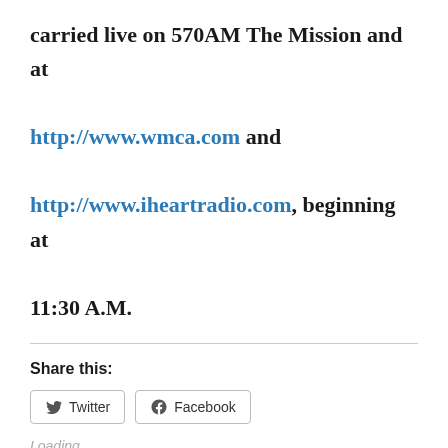carried live on 570AM The Mission and at http://www.wmca.com and http://www.iheartradio.com, beginning at 11:30 A.M.
Share this:
[Figure (other): Social share buttons: Twitter and Facebook]
Loading...
Related